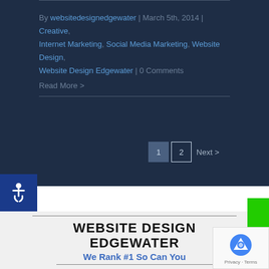By websitedesignedgewater | March 5th, 2014 | Creative, Internet Marketing, Social Media Marketing, Website Design, Website Design Edgewater | 0 Comments
Read More >
1  2  Next >
[Figure (other): Green vertical tab on right side reading '5 MIN RESPONSE']
[Figure (other): Accessibility wheelchair icon button on dark blue background]
WEBSITE DESIGN EDGEWATER
We Rank #1 So Can You
[Figure (other): reCAPTCHA badge with privacy and terms links]